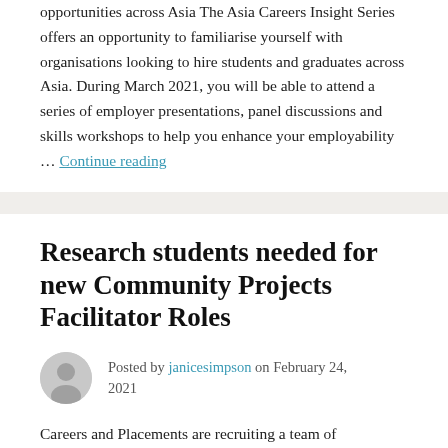opportunities across Asia The Asia Careers Insight Series offers an opportunity to familiarise yourself with organisations looking to hire students and graduates across Asia. During March 2021, you will be able to attend a series of employer presentations, panel discussions and skills workshops to help you enhance your employability … Continue reading
Research students needed for new Community Projects Facilitator Roles
Posted by janicesimpson on February 24, 2021
Careers and Placements are recruiting a team of postgraduate students to help facilitate Community